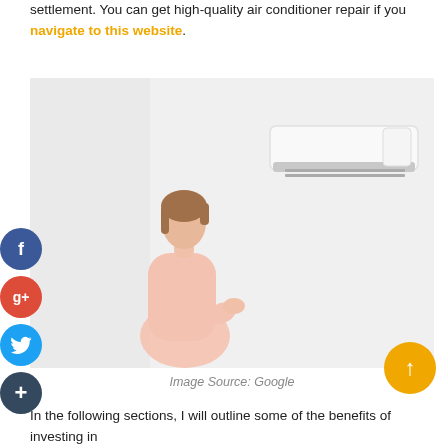settlement. You can get high-quality air conditioner repair if you navigate to this website.
[Figure (photo): A woman in a pink outfit looking up at a wall-mounted air conditioner unit on a white wall. Social media share buttons (Facebook, Google+, Twitter, More) appear on the left side. A scroll-to-top button appears at the bottom right.]
Image Source: Google
In the following sections, I will outline some of the benefits of investing in